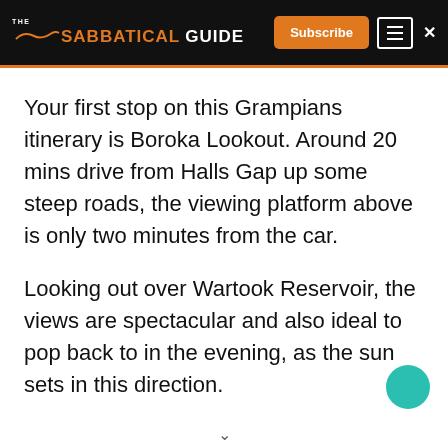THE SABBATICAL GUIDE | Subscribe
Your first stop on this Grampians itinerary is Boroka Lookout. Around 20 mins drive from Halls Gap up some steep roads, the viewing platform above is only two minutes from the car.
Looking out over Wartook Reservoir, the views are spectacular and also ideal to pop back to in the evening, as the sun sets in this direction.